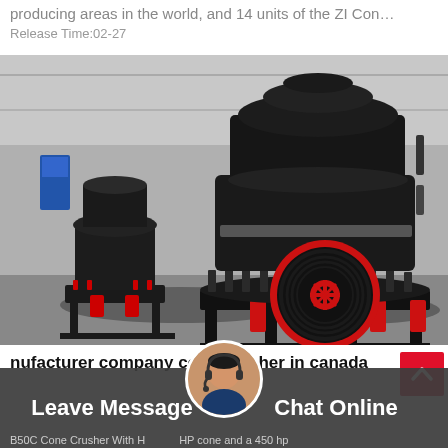producing areas in the world, and 14 units of the ZI Con…
Release Time:02-27
[Figure (photo): Industrial cone crushers in a factory/warehouse setting. Two large black and red cone crushing machines are shown on heavy-duty steel frames. The machines feature red accent components including pulleys and hydraulic cylinders. A large black belt pulley drive system is visible in the foreground. The background shows a metal industrial building interior.]
nufacturer company cone crusher in canada
B50C Cone Crusher With HP cone and a 450 hp